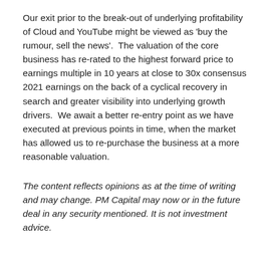Our exit prior to the break-out of underlying profitability of Cloud and YouTube might be viewed as 'buy the rumour, sell the news'.  The valuation of the core business has re-rated to the highest forward price to earnings multiple in 10 years at close to 30x consensus 2021 earnings on the back of a cyclical recovery in search and greater visibility into underlying growth drivers.  We await a better re-entry point as we have executed at previous points in time, when the market has allowed us to re-purchase the business at a more reasonable valuation.
The content reflects opinions as at the time of writing and may change. PM Capital may now or in the future deal in any security mentioned. It is not investment advice.